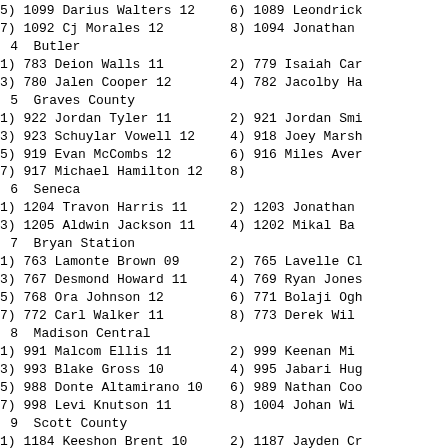5) 1099 Darius Walters 12   6) 1089 Leondrick...
7) 1092 Cj Morales 12   8) 1094 Jonathan...
4  Butler
1) 783 Deion Walls 11   2) 779 Isaiah Car...
3) 780 Jalen Cooper 12   4) 782 Jacolby Ha...
5  Graves County
1) 922 Jordan Tyler 11   2) 921 Jordan Smi...
3) 923 Schuylar Vowell 12   4) 918 Joey Marsh...
5) 919 Evan McCombs 12   6) 916 Miles Aven...
7) 917 Michael Hamilton 12   8)
6  Seneca
1) 1204 Travon Harris 11   2) 1203 Jonathan...
3) 1205 Aldwin Jackson 11   4) 1202 Mikal Ba...
7  Bryan Station
1) 763 Lamonte Brown 09   2) 765 Lavelle Cl...
3) 767 Desmond Howard 11   4) 769 Ryan Jones...
5) 768 Ora Johnson 12   6) 771 Bolaji Ogh...
7) 772 Carl Walker 11   8) 773 Derek Wil...
8  Madison Central
1) 991 Malcom Ellis 11   2) 999 Keenan Mi...
3) 993 Blake Gross 10   4) 995 Jabari Hug...
5) 988 Donte Altamirano 10   6) 989 Nathan Coo...
7) 998 Levi Knutson 11   8) 1004 Johan Wi...
9  Scott County
1) 1184 Keeshon Brent 10   2) 1187 Jayden Cr...
3) 1197 Mookie Payton 09   4) 1200 Palmer Wa...
5) 1191 Shaun Hayes 12   6) 1193 Davonte H...
7) 1186 Tyler Carpenter 11   8) 1190 Keith Guy...
10  McCracken County
1) 1065 Zack Moore 11   2) 1067 Kyris So...